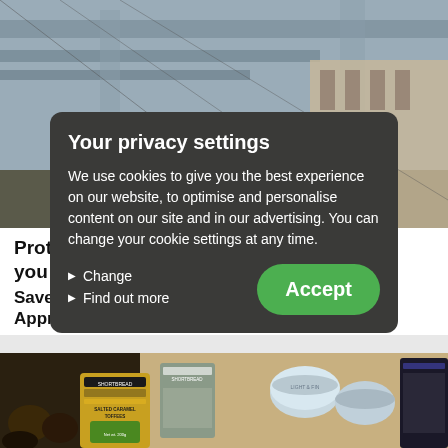[Figure (photo): Car wheel and undercarriage at an urban overpass/infrastructure setting, viewed from low angle]
Your privacy settings
We use cookies to give you the best experience on our website, to optimise and personalise content on our site and in our advertising. You can change your cookie settings at any time.
Change
Find out more
Accept
Protect  for you
Save up to £30 when purchasing the Approved Protection Pack.
[Figure (photo): Close-up of gift food products including shortbread tin, salted caramel toffees, and other packaged goods]